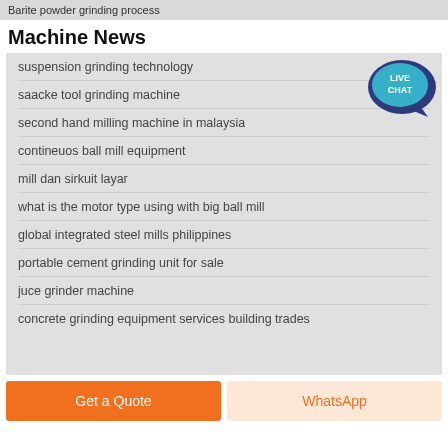Barite powder grinding process
Machine News
suspension grinding technology
saacke tool grinding machine
second hand milling machine in malaysia
contineuos ball mill equipment
mill dan sirkuit layar
what is the motor type using with big ball mill
global integrated steel mills philippines
portable cement grinding unit for sale
juce grinder machine
concrete grinding equipment services building trades